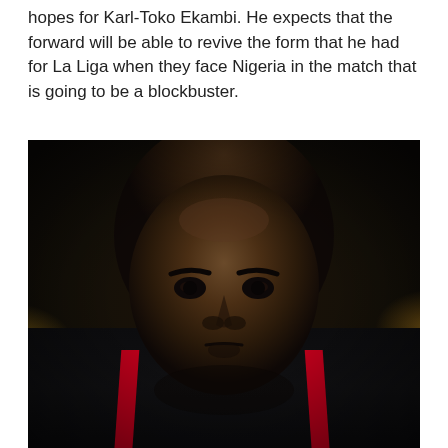hopes for Karl-Toko Ekambi. He expects that the forward will be able to revive the form that he had for La Liga when they face Nigeria in the match that is going to be a blockbuster.
[Figure (photo): Close-up portrait photo of a bald Black male footballer wearing a black jersey with red stripes, likely a Cameroon or club national team kit. The background is blurred with warm golden/orange bokeh tones.]